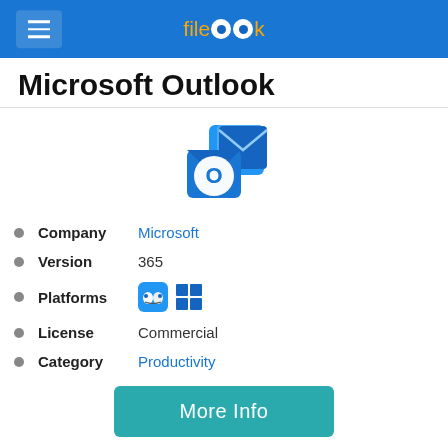FileLook
Microsoft Outlook
[Figure (logo): Microsoft Outlook application icon — blue envelope with a white O letter badge]
Company: Microsoft
Version: 365
Platforms: macOS, Windows
License: Commercial
Category: Productivity
More Info